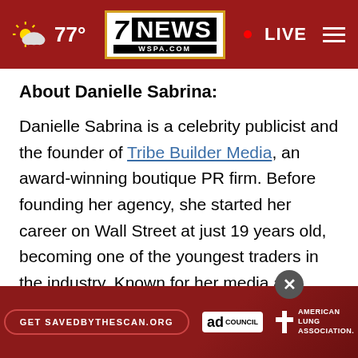77° | 7NEWS WSPA.COM | LIVE
About Danielle Sabrina:
Danielle Sabrina is a celebrity publicist and the founder of Tribe Builder Media, an award-winning boutique PR firm. Before founding her agency, she started her career on Wall Street at just 19 years old, becoming one of the youngest traders in the industry. Known for her media and brand strategy, her results-oriented reputation throu... any high-... d
[Figure (screenshot): Advertisement banner at bottom: red background with 'Get SAVEDBYTHESCAN.ORG' button, Ad Council logo, and American Lung Association logo]